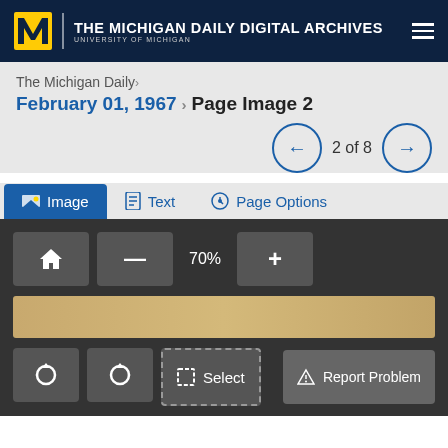THE MICHIGAN DAILY DIGITAL ARCHIVES — UNIVERSITY OF MICHIGAN
The Michigan Daily›
February 01, 1967› Page Image 2
2 of 8
Image
Text
Page Options
[Figure (screenshot): Image viewer toolbar with home button, zoom controls showing 70%, zoom out and zoom in buttons, image strip thumbnail, rotate left, rotate right, select, and report problem buttons]
70%
Select
Report Problem